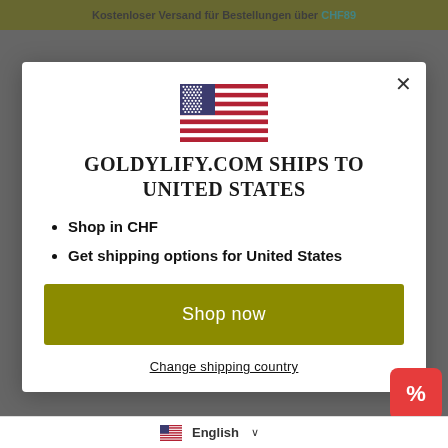Kostenloser Versand für Bestellungen über CHF89
[Figure (illustration): US flag illustration inside modal dialog]
GOLDYLIFY.COM SHIPS TO UNITED STATES
Shop in CHF
Get shipping options for United States
Shop now
Change shipping country
English